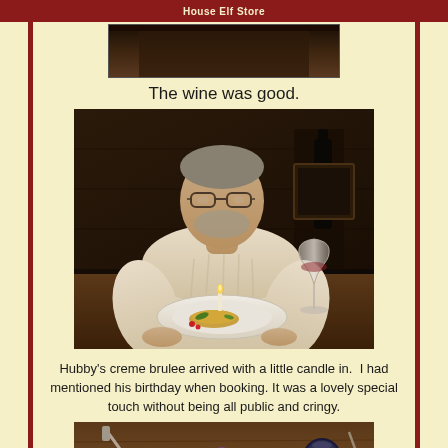House Elf Store
[Figure (photo): Top portion of a photo, partially cropped at the top of the page]
The wine was good.
[Figure (photo): A man in a white cable-knit sweater sitting at a restaurant table with a creme brulee dessert with a lit candle on a plate in front of him, and a wine glass to his right]
Hubby's creme brulee arrived with a little candle in.  I had mentioned his birthday when booking. It was a lovely special touch without being all public and cringy.
[Figure (photo): Bottom partial photo showing a table with food items including grapes]